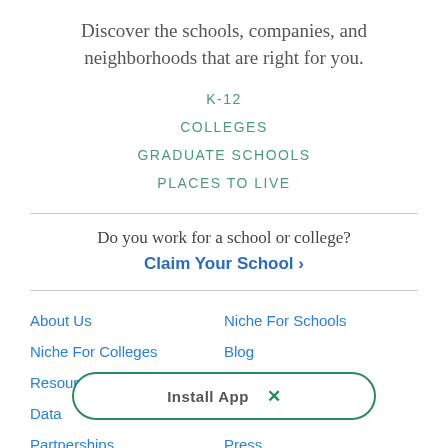Discover the schools, companies, and neighborhoods that are right for you.
K-12
COLLEGES
GRADUATE SCHOOLS
PLACES TO LIVE
Do you work for a school or college?
Claim Your School ›
About Us
Niche For Schools
Niche For Colleges
Blog
Resource Center
Contact Niche
Data
Careers
Partnerships
Press
Do Not S...
Information
Install App  ×